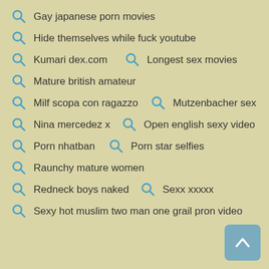Gay japanese porn movies
Hide themselves while fuck youtube
Kumari dex.com    Longest sex movies
Mature british amateur
Milf scopa con ragazzo    Mutzenbacher sex
Nina mercedez x    Open english sexy video
Porn nhatban    Porn star selfies
Raunchy mature women
Redneck boys naked    Sexx xxxxx
Sexy hot muslim two man one grail pron video